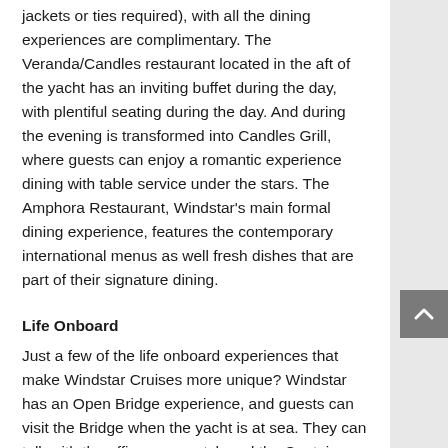jackets or ties required), with all the dining experiences are complimentary. The Veranda/Candles restaurant located in the aft of the yacht has an inviting buffet during the day, with plentiful seating during the day. And during the evening is transformed into Candles Grill, where guests can enjoy a romantic experience dining with table service under the stars. The Amphora Restaurant, Windstar's main formal dining experience, features the contemporary international menus as well fresh dishes that are part of their signature dining.
Life Onboard
Just a few of the life onboard experiences that make Windstar Cruises more unique? Windstar has an Open Bridge experience, and guests can visit the Bridge when the yacht is at sea. They can talk with the officers on watch and the Captain, while enjoying some of the best views on the yacht. Guests onboard Windstar Cruises can also enjoy a Sail Away from each of the ports,